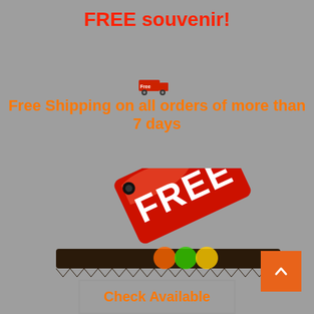FREE souvenir!
Free Shipping on all orders of more than 7 days
[Figure (illustration): A red price tag labeled FREE attached to what appears to be a saw blade or rail, displayed on a grey background]
[Figure (other): Orange square button with an upward caret/arrow icon]
Check Available